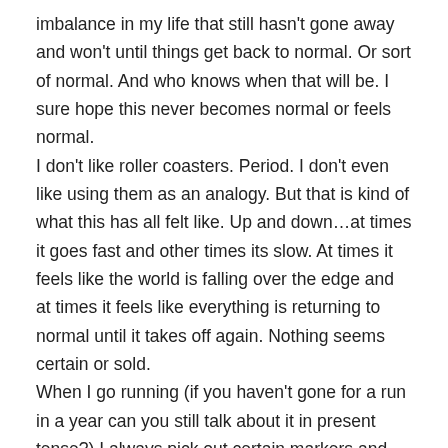imbalance in my life that still hasn't gone away and won't until things get back to normal. Or sort of normal. And who knows when that will be. I sure hope this never becomes normal or feels normal.
I don't like roller coasters. Period. I don't even like using them as an analogy. But that is kind of what this has all felt like. Up and down…at times it goes fast and other times its slow. At times it feels like the world is falling over the edge and at times it feels like everything is returning to normal until it takes off again. Nothing seems certain or sold.
When I go running (if you haven't gone for a run in a year can you still talk about it in present tense?) I always pick out certain markers and talk myself through each one. "I know the light is half a mile away and then after that just over the hill and down a bit is Grace Church. Once I'm there the reservoir